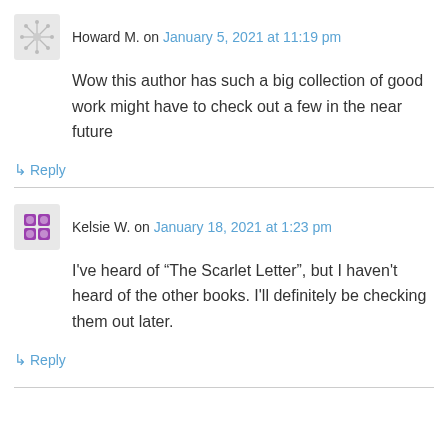Howard M. on January 5, 2021 at 11:19 pm
Wow this author has such a big collection of good work might have to check out a few in the near future
↳ Reply
Kelsie W. on January 18, 2021 at 1:23 pm
I've heard of “The Scarlet Letter”, but I haven't heard of the other books. I'll definitely be checking them out later.
↳ Reply